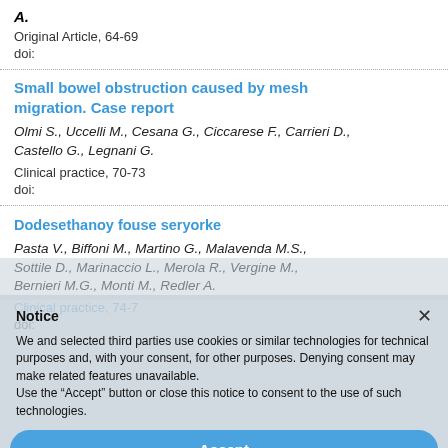A.
Original Article, 64-69
doi:
Small bowel obstruction caused by mesh migration. Case report
Olmi S., Uccelli M., Cesana G., Ciccarese F., Carrieri D., Castello G., Legnani G.
Clinical practice, 70-73
doi:
Dodesethanoy fouse seryorke
Pasta V., Biffoni M., Martino G., Malavenda M.S., Sottile D., Marinaccio L., Merola R., Vergine M., Bernieri M.G., Monti M., Redler A.
Clinical practice, 74-7
doi:
Notice
We and selected third parties use cookies or similar technologies for technical purposes and, with your consent, for other purposes. Denying consent may make related features unavailable. Use the "Accept" button or close this notice to consent to the use of such technologies.
Accept
Learn more and customise